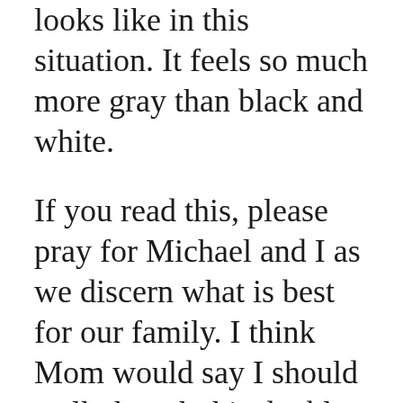looks like in this situation. It feels so much more gray than black and white.
If you read this, please pray for Michael and I as we discern what is best for our family. I think Mom would say I should walk though this double mastectomy story for my health, my husband, and my family.
I am a hot mess of tears and emotion. I believe God is good all of the time, and I believe He is writing a good story for me. Thank you for being